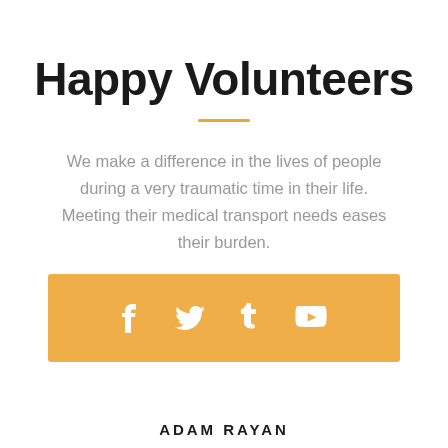Happy Volunteers
We make a difference in the lives of people during a very traumatic time in their life. Meeting their medical transport needs eases their burden.
[Figure (infographic): Orange/amber colored social media bar with white icons for Facebook, Twitter, Tumblr, and YouTube]
ADAM RAYAN